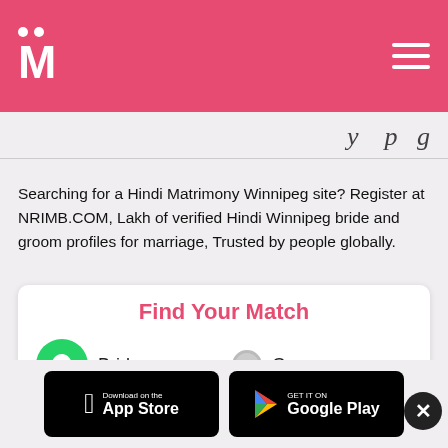[Figure (logo): NRIMB matrimony website header with pink/red background, white M logo with two dots above, and hamburger menu icon on the right]
Searching for a Hindi Matrimony Winnipeg site? Register at NRIMB.COM, Lakh of verified Hindi Winnipeg bride and groom profiles for marriage, Trusted by people globally.
[Figure (screenshot): Find Your Match card with Bride (selected, green radio) and Groom (unselected, grey radio) options and partial input fields below]
[Figure (screenshot): App store badges: Download on the App Store (Apple) and GET IT ON Google Play, with a close X button]